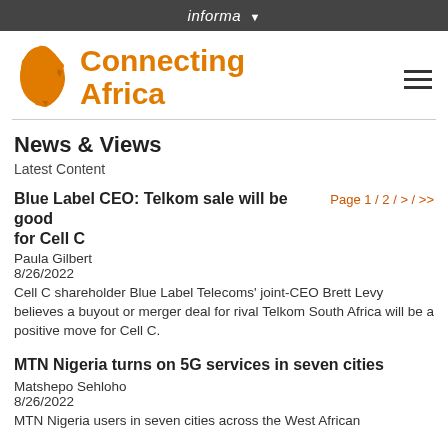informa ▼
[Figure (logo): Connecting Africa logo with orange Africa continent silhouette and orange bold text 'Connecting Africa']
News & Views
Latest Content
Blue Label CEO: Telkom sale will be good for Cell C
Page 1 / 2 / > / >>
Paula Gilbert
8/26/2022
Cell C shareholder Blue Label Telecoms' joint-CEO Brett Levy believes a buyout or merger deal for rival Telkom South Africa will be a positive move for Cell C.
MTN Nigeria turns on 5G services in seven cities
Matshepo Sehloho
8/26/2022
MTN Nigeria users in seven cities across the West African